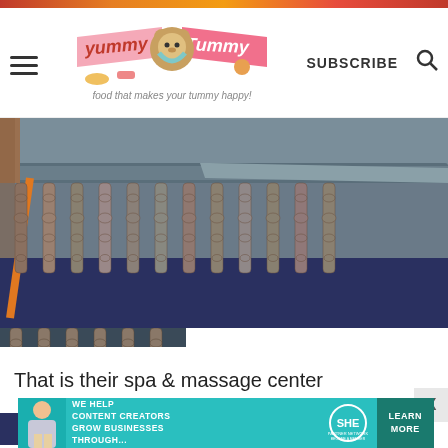Yummy Tummy - food that makes your tummy happy! | SUBSCRIBE
[Figure (photo): Close-up photo of an ornate wooden table or furniture piece with decorative turned spindle legs, painted in gray/blue tones, on a dark navy rug. The photo continues below showing the lower portion of the same furniture.]
That is their spa & massage center
[Figure (infographic): SHE Partner Network advertisement banner with teal background. Text reads: WE HELP CONTENT CREATORS GROW BUSINESSES THROUGH... with SHE Partner Network logo and LEARN MORE button.]